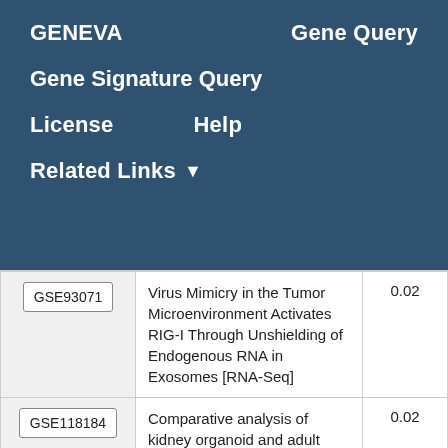GENEVA   Gene Query
Gene Signature Query
License   Help
Related Links ▾
| ID | Description | Score |
| --- | --- | --- |
| GSE93071 | Virus Mimicry in the Tumor Microenvironment Activates RIG-I Through Unshielding of Endogenous RNA in Exosomes [RNA-Seq] | 0.02 |
| GSE118184 | Comparative analysis of kidney organoid and adult | 0.02 |